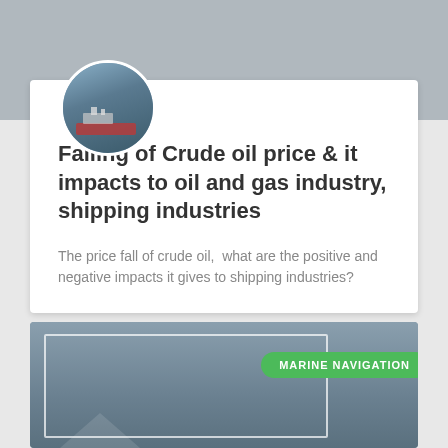[Figure (photo): Gray banner background at top of page]
[Figure (photo): Circular avatar image showing a ship/vessel at a dock or port, with blue-gray water background]
Falling of Crude oil price & it impacts to oil and gas industry, shipping industries
The price fall of crude oil,  what are the positive and negative impacts it gives to shipping industries?
[Figure (photo): Marine navigation themed card with blue-gray background, white outline rectangle, a green pill badge reading MARINE NAVIGATION, and a faint mountain/triangle shape at bottom]
MARINE NAVIGATION